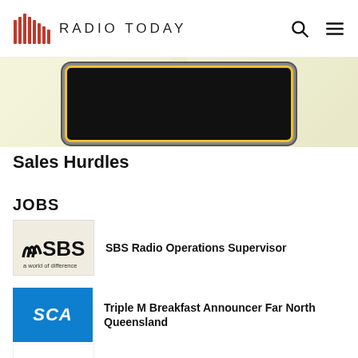RADIO TODAY
[Figure (photo): Cropped banner image showing a dark screen/device with yellow border against a light background, with a large faded number visible]
Sales Hurdles
JOBS
SBS Radio Operations Supervisor
Triple M Breakfast Announcer Far North Queensland
Super Network News Cadet Journalist Position